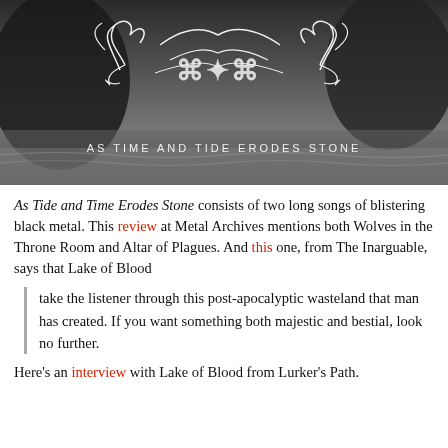[Figure (photo): Black and white album artwork for 'As Time and Tide Erodes Stone' by Lake of Blood. Shows a dark coastal/rocky scene with ornate black metal band logo in white at center, and subtitle text 'AS TIME AND TIDE ERODES STONE' below the logo.]
As Tide and Time Erodes Stone consists of two long songs of blistering black metal. This review at Metal Archives mentions both Wolves in the Throne Room and Altar of Plagues. And this one, from The Inarguable, says that Lake of Blood
take the listener through this post-apocalyptic wasteland that man has created. If you want something both majestic and bestial, look no further.
Here's an interview with Lake of Blood from Lurker's Path.